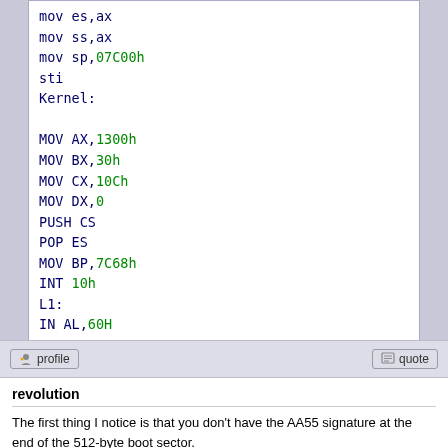[Figure (screenshot): Assembly code snippet showing x86 boot sector / kernel code with syntax highlighting: keywords in dark blue, values in green, comments in light gray]
profile  |  quote
revolution
The first thing I notice is that you don't have the AA55 signature at the end of the 512-byte boot sector.